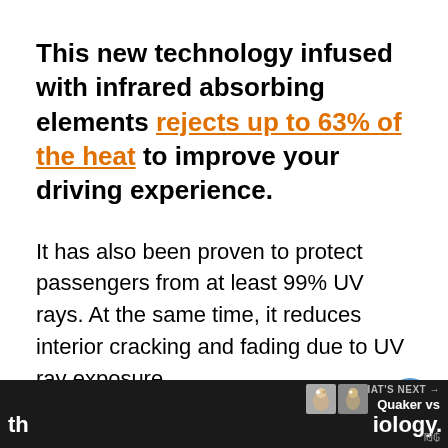This new technology infused with infrared absorbing elements rejects up to 63% of the heat to improve your driving experience.
It has also been proven to protect passengers from at least 99% UV rays. At the same time, it reduces interior cracking and fading due to UV ray exposure.
Pinnacle isn't far off when it comes to heat rejection. It boasts a heat rejection of 43% without a dark appearance. This is a... th...iology.